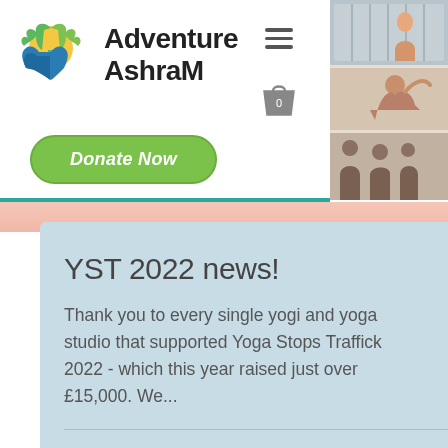[Figure (logo): Adventure Ashram logo: yellow circle with green tree/leaves and blue hands underneath, next to the text 'Adventure Ashram' in bold black font with hamburger menu and shopping bag icon]
[Figure (photo): Collage of yoga studio photos showing people doing yoga poses]
[Figure (illustration): Green rounded button labeled 'Donate Now' in white italic bold text]
YST 2022 news!
Thank you to every single yogi and yoga studio that supported Yoga Stops Traffick 2022 - which this year raised just over £15,000. We...